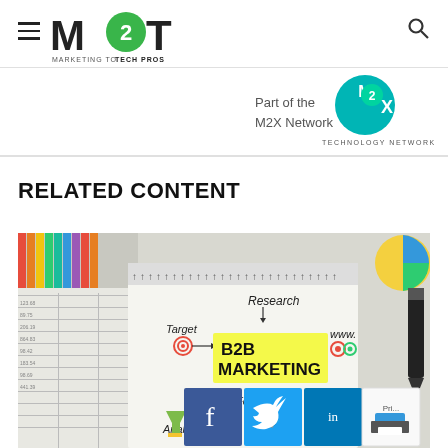M2T — Marketing to Tech Pros
[Figure (logo): M2X Network logo with text 'Part of the M2X Network TECHNOLOGY NETWORK']
RELATED CONTENT
[Figure (photo): B2B Marketing concept on a notepad with markers, showing words: Research, Target, B2B Marketing (highlighted in yellow), www., Feedback, Analysis, Cor..., with a pie chart and bar chart visible in background. Social sharing icons (Facebook, Twitter, LinkedIn) and a print button overlay the bottom of the image.]